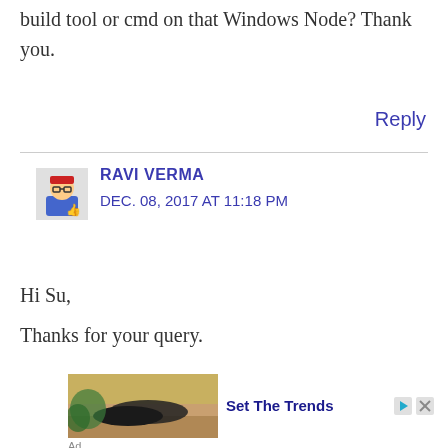build tool or cmd on that Windows Node? Thank you.
Reply
RAVI VERMA
DEC. 08, 2017 AT 11:18 PM
Hi Su,
Thanks for your query.
[Figure (photo): Advertisement showing a person wearing black Puma sneakers on tiled steps with plants, with text 'Set The Trends']